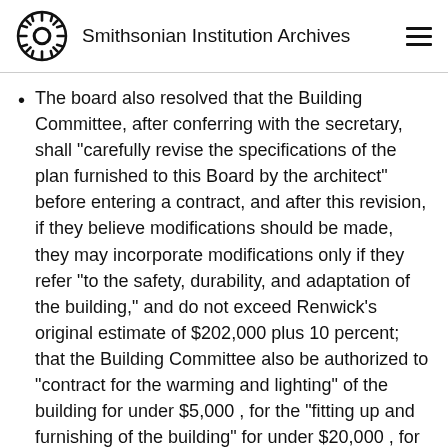Smithsonian Institution Archives
The board also resolved that the Building Committee, after conferring with the secretary, shall "carefully revise the specifications of the plan furnished to this Board by the architect" before entering a contract, and after this revision, if they believe modifications should be made, they may incorporate modifications only if they refer "to the safety, durability, and adaptation of the building," and do not exceed Renwick's original estimate of $202,000 plus 10 percent; that the Building Committee also be authorized to "contract for the warming and lighting" of the building for under $5,000 , for the "fitting up and furnishing of the building" for under $20,000 , for a "permanent fence around the ground belonging to the institution" for under $10,000 , that the Secretary